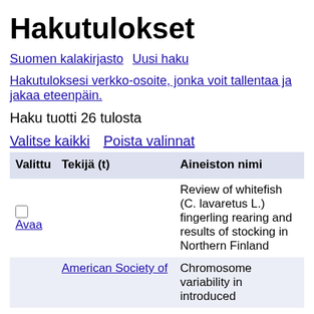Hakutulokset
Suomen kalakirjasto  Uusi haku
Hakutuloksesi verkko-osoite, jonka voit tallentaa ja jakaa eteenpäin.
Haku tuotti 26 tulosta
Valitse kaikki  Poista valinnat
| Valittu | Tekijä (t) | Aineiston nimi |
| --- | --- | --- |
| [checkbox] Avaa |  | Review of whitefish (C. lavaretus L.) fingerling rearing and results of stocking in Northern Finland |
|  | American Society of | Chromosome variability in introduced |